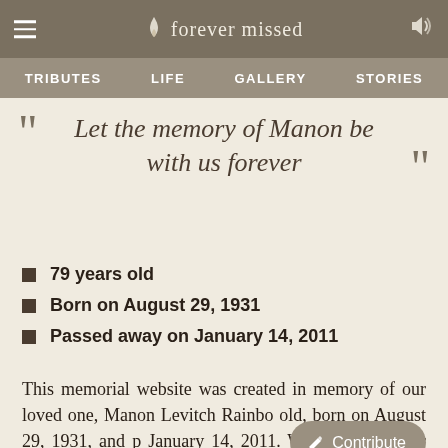forever missed — TRIBUTES  LIFE  GALLERY  STORIES
Let the memory of Manon be with us forever
79 years old
Born on August 29, 1931
Passed away on January 14, 2011
This memorial website was created in memory of our loved one, Manon Levitch Rainbo old, born on August 29, 1931, and p January 14, 2011. We will remember her forever.